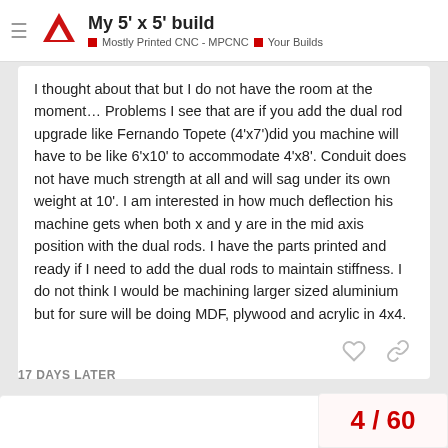My 5' x 5' build — Mostly Printed CNC - MPCNC | Your Builds
I thought about that but I do not have the room at the moment… Problems I see that are if you add the dual rod upgrade like Fernando Topete (4'x7')did you machine will have to be like 6'x10' to accommodate 4'x8'. Conduit does not have much strength at all and will sag under its own weight at 10'. I am interested in how much deflection his machine gets when both x and y are in the mid axis position with the dual rods. I have the parts printed and ready if I need to add the dual rods to maintain stiffness. I do not think I would be machining larger sized aluminium but for sure will be doing MDF, plywood and acrylic in 4x4.
17 DAYS LATER
4 / 60